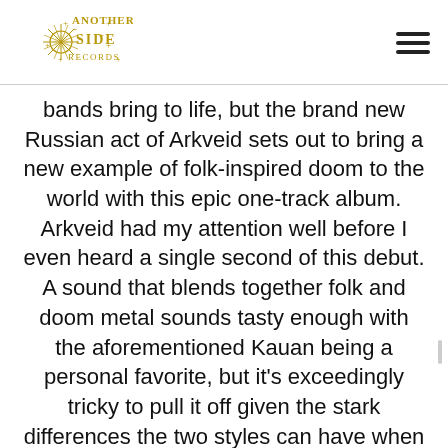Another Side Records logo and hamburger menu
bands bring to life, but the brand new Russian act of Arkveid sets out to bring a new example of folk-inspired doom to the world with this epic one-track album. Arkveid had my attention well before I even heard a single second of this debut. A sound that blends together folk and doom metal sounds tasty enough with the aforementioned Kauan being a personal favorite, but it's exceedingly tricky to pull it off given the stark differences the two styles can have when juxtaposed.